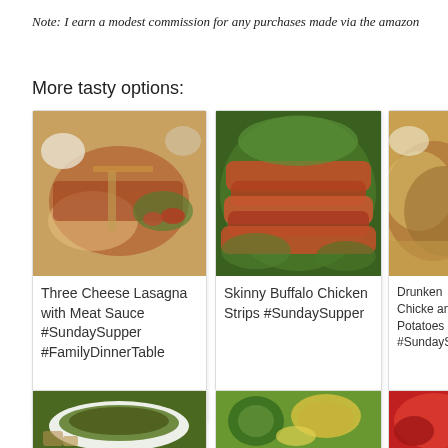Note: I earn a modest commission for any purchases made via the amazon
More tasty options:
[Figure (photo): Photo of Three Cheese Lasagna with Meat Sauce on a plate with salad]
Three Cheese Lasagna with Meat Sauce #SundaySupper #FamilyDinnerTable
[Figure (photo): Photo of Skinny Buffalo Chicken Strips on a bed of spinach leaves]
Skinny Buffalo Chicken Strips #SundaySupper
[Figure (photo): Photo of Drunken Chicken and Potatoes dish]
Drunken Chicken and Potatoes #SundaySupper
[Figure (photo): Photo of a green herb dish in a white casserole bowl]
[Figure (photo): Photo of avocado and lime with other ingredients]
[Figure (photo): Photo with red/Christmas holiday decorations]